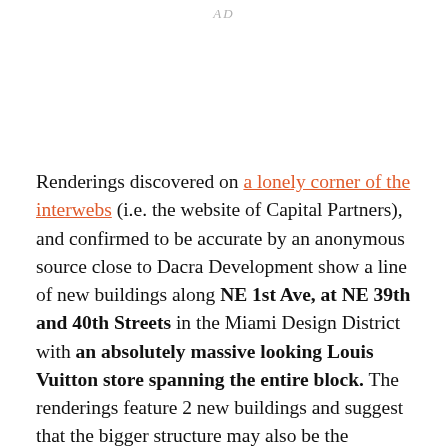AD
Renderings discovered on a lonely corner of the interwebs (i.e. the website of Capital Partners), and confirmed to be accurate by an anonymous source close to Dacra Development show a line of new buildings along NE 1st Ave, at NE 39th and 40th Streets in the Miami Design District with an absolutely massive looking Louis Vuitton store spanning the entire block. The renderings feature 2 new buildings and suggest that the bigger structure may also be the extravagant future Miami home of Louis Vuitton (one needs hardly to pull